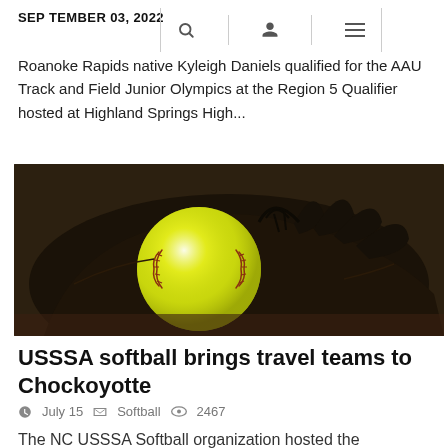SEPTEMBER 03, 2022
Roanoke Rapids native Kyleigh Daniels qualified for the AAU Track and Field Junior Olympics at the Region 5 Qualifier hosted at Highland Springs High...
[Figure (photo): A yellow softball resting in a black leather softball glove on a dirt surface]
USSSA softball brings travel teams to Chockoyotte
July 15   Softball   2467
The NC USSSA Softball organization hosted the